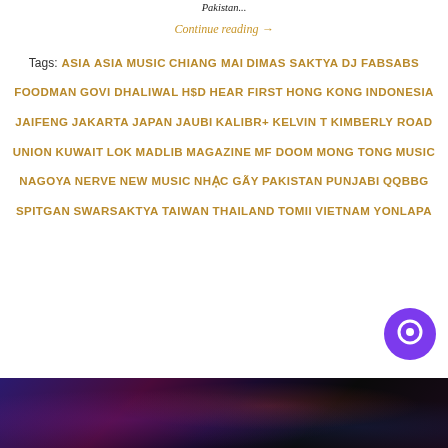Pakistan...
Continue reading →
Tags: ASIA  ASIA MUSIC  CHIANG MAI  DIMAS SAKTYA  DJ FABSABS  FOODMAN  GOVI DHALIWAL  H$D  HEAR FIRST  HONG KONG  INDONESIA  JAIFENG  JAKARTA  JAPAN  JAUBI  KALIBR+  KELVIN T  KIMBERLY ROAD UNION  KUWAIT  LOK  MADLIB  MAGAZINE  MF DOOM  MONG TONG  MUSIC  NAGOYA  NERVE  NEW MUSIC  NHẠC GÃY  PAKISTAN  PUNJABI  QQBBG  SPITGAN  SWARSAKTYA  TAIWAN  THAILAND  TOMII  VIETNAM  YONLAPA
[Figure (illustration): Colorful abstract image at the bottom of the page, dark purple and red tones]